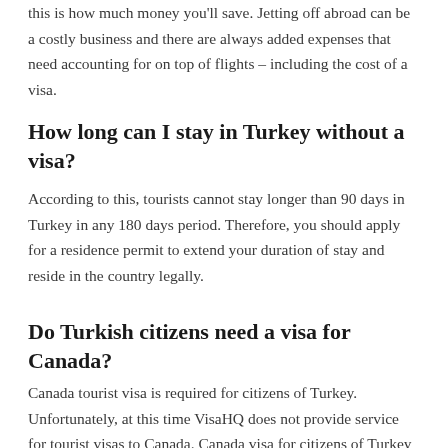this is how much money you'll save. Jetting off abroad can be a costly business and there are always added expenses that need accounting for on top of flights – including the cost of a visa.
How long can I stay in Turkey without a visa?
According to this, tourists cannot stay longer than 90 days in Turkey in any 180 days period. Therefore, you should apply for a residence permit to extend your duration of stay and reside in the country legally.
Do Turkish citizens need a visa for Canada?
Canada tourist visa is required for citizens of Turkey. Unfortunately, at this time VisaHQ does not provide service for tourist visas to Canada. Canada visa for citizens of Turkey is required.